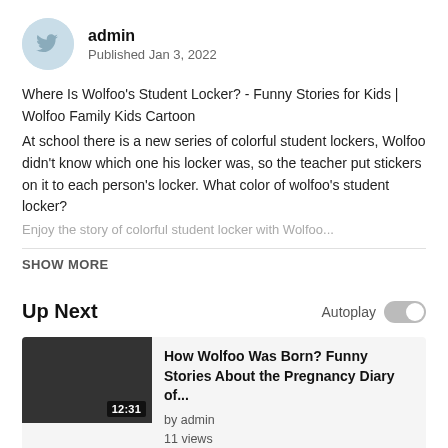[Figure (illustration): Avatar icon of admin user — light blue circle with a stylized bird/twitter-like logo]
admin
Published Jan 3, 2022
Where Is Wolfoo's Student Locker? - Funny Stories for Kids | Wolfoo Family Kids Cartoon
At school there is a new series of colorful student lockers, Wolfoo didn't know which one his locker was, so the teacher put stickers on it to each person's locker. What color of wolfoo's student locker?
SHOW MORE
Up Next
Autoplay
[Figure (screenshot): Video thumbnail for 'How Wolfoo Was Born?' — dark/black rectangle with duration badge 12:31]
How Wolfoo Was Born? Funny Stories About the Pregnancy Diary of...
by admin
11 views
[Figure (screenshot): Video thumbnail for 'Black vs Pink Challenge by Wolfoo and Lucy' — dark rectangle]
Black vs Pink Challenge by Wolfoo and Lucy - Funny Stories for Kids |...
by admin